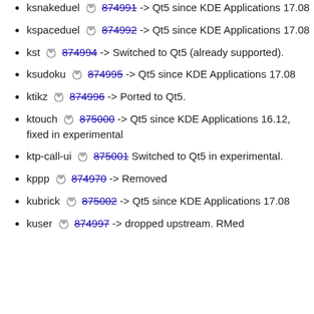ksnakeduel 874991 -> Qt5 since KDE Applications 17.08
kspaceduel 874992 -> Qt5 since KDE Applications 17.08
kst 874994 -> Switched to Qt5 (already supported).
ksudoku 874995 -> Qt5 since KDE Applications 17.08
ktikz 874996 -> Ported to Qt5.
ktouch 875000 -> Qt5 since KDE Applications 16.12, fixed in experimental
ktp-call-ui 875001 Switched to Qt5 in experimental.
kppp 874970 -> Removed
kubrick 875002 -> Qt5 since KDE Applications 17.08
kuser 874997 -> dropped upstream. RMed